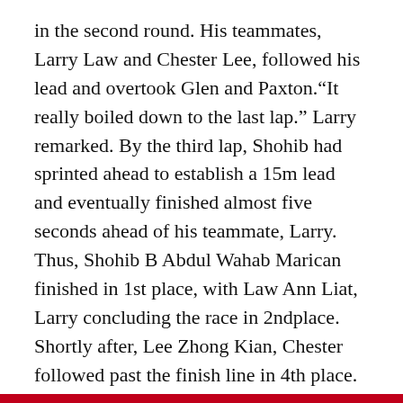in the second round. His teammates, Larry Law and Chester Lee, followed his lead and overtook Glen and Paxton.“It really boiled down to the last lap.” Larry remarked. By the third lap, Shohib had sprinted ahead to establish a 15m lead and eventually finished almost five seconds ahead of his teammate, Larry. Thus, Shohib B Abdul Wahab Marican finished in 1st place, with Law Ann Liat, Larry concluding the race in 2ndplace. Shortly after, Lee Zhong Kian, Chester followed past the finish line in 4th place.
Prior to this event, Shohib had won the champion titles for the 5000m event and March Cross Country events. He also led the